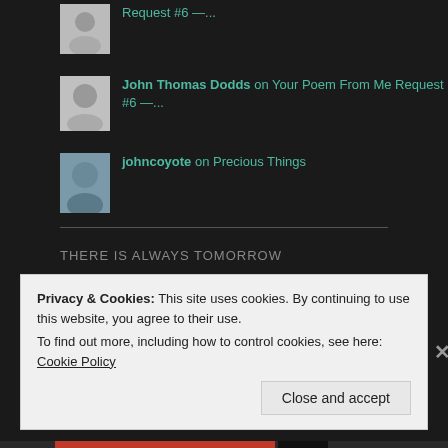Request #6 —...
John Thomas Dodds on Your Poem From Me Request #6 —...
johncoyote on Precious Things
THERE IS ALWAYS TOMORROW
April 2016
| M | T | W | T | F | S | S |
| --- | --- | --- | --- | --- | --- | --- |
Privacy & Cookies: This site uses cookies. By continuing to use this website, you agree to their use.
To find out more, including how to control cookies, see here: Cookie Policy
Close and accept